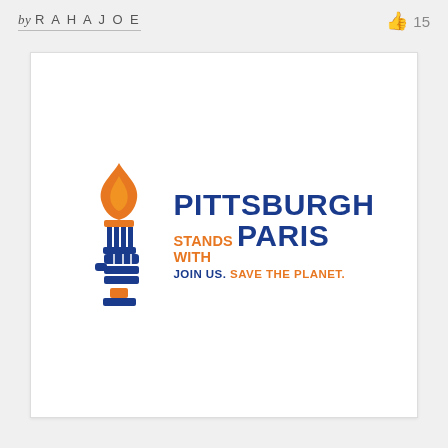by RAHAJOE  👍 15
[Figure (logo): Pittsburgh Stands With Paris logo featuring a torch (orange flame, blue pillar with fist) and text: PITTSBURGH STANDS WITH PARIS JOIN US. SAVE THE PLANET.]